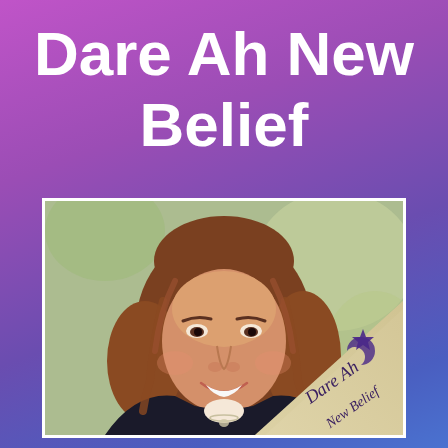Dare Ah New Belief
[Figure (photo): Photo of a smiling woman with long wavy brown hair wearing a black blazer and a necklace, overlaid in the bottom-right corner with a tan/beige diagonal book cover showing a star, crescent moon, and the text 'Dare Ah New Belief' in cursive script.]